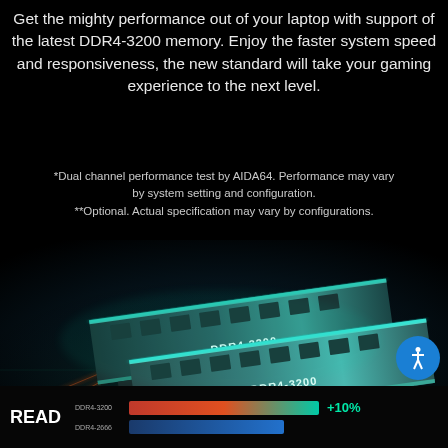Get the mighty performance out of your laptop with support of the latest DDR4-3200 memory. Enjoy the faster system speed and responsiveness, the new standard will take your gaming experience to the next level.
*Dual channel performance test by AIDA64. Performance may vary by system setting and configuration.
**Optional. Actual specification may vary by configurations.
[Figure (photo): Two DDR4-3200 RAM sticks with teal/cyan heatspreaders and 'DDR4-3200' labels, photographed on a glowing circuit board background with orange and blue light trails, dark dramatic lighting.]
[Figure (bar-chart): READ performance comparison DDR4-3200 vs DDR4-2666]